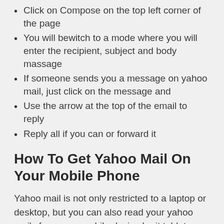Click on Compose on the top left corner of the page
You will bewitch to a mode where you will enter the recipient, subject and body massage
If someone sends you a message on yahoo mail, just click on the message and
Use the arrow at the top of the email to reply
Reply all if you can or forward it
How To Get Yahoo Mail On Your Mobile Phone
Yahoo mail is not only restricted to a laptop or desktop, but you can also read your yahoo mails from your mobile device be it tablet or phone.